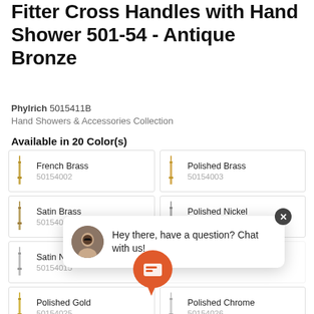Fitter Cross Handles with Hand Shower 501-54 - Antique Bronze
Phylrich 5015411B
Hand Showers & Accessories Collection
Available in 20 Color(s)
| Image | Name | SKU | Image | Name | SKU |
| --- | --- | --- | --- | --- | --- |
|  | French Brass | 50154002 |  | Polished Brass | 50154003 |
|  | Satin Brass | 50154004 |  | Polished Nickel | 50154014 |
|  | Satin Nickel | 50154015 |  |  |  |
|  | Polished Gold | 50154025 |  | Polished Chrome | 50154026 |
|  | Polished Brass Uncoated |  |  | Matte Black | 50154040 |
[Figure (other): Live chat popup overlay with agent avatar and message: Hey there, have a question? Chat with us!]